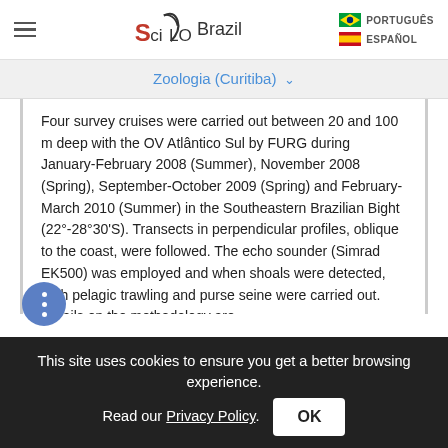SciELO Brazil | PORTUGUÊS | ESPAÑOL
Zoologia (Curitiba) ∨
Four survey cruises were carried out between 20 and 100 m deep with the OV Atlântico Sul by FURG during January-February 2008 (Summer), November 2008 (Spring), September-October 2009 (Spring) and February-March 2010 (Summer) in the Southeastern Brazilian Bight (22°-28°30'S). Transects in perpendicular profiles, oblique to the coast, were followed. The echo sounder (Simrad EK500) was employed and when shoals were detected, both pelagic trawling and purse seine were carried out. Details on the methodology are
This site uses cookies to ensure you get a better browsing experience. Read our Privacy Policy.